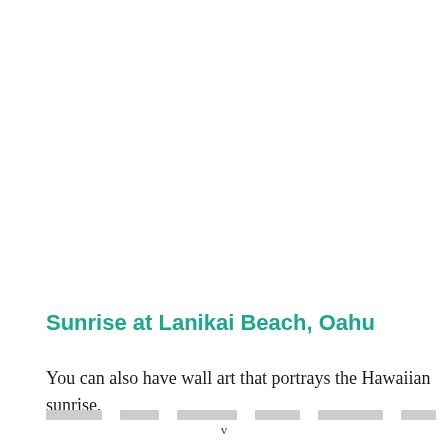Sunrise at Lanikai Beach, Oahu
You can also have wall art that portrays the Hawaiian sunrise,
v